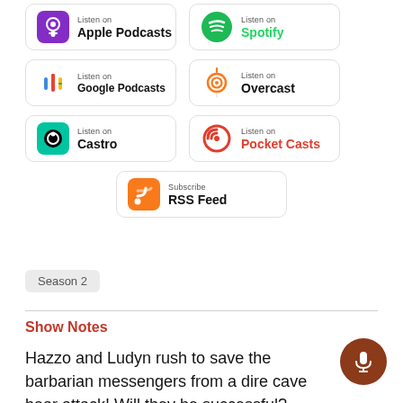[Figure (logo): Apple Podcasts badge - Listen on Apple Podcasts]
[Figure (logo): Spotify badge - Listen on Spotify]
[Figure (logo): Google Podcasts badge - Listen on Google Podcasts]
[Figure (logo): Overcast badge - Listen on Overcast]
[Figure (logo): Castro badge - Listen on Castro]
[Figure (logo): Pocket Casts badge - Listen on Pocket Casts]
[Figure (logo): RSS Feed badge - Subscribe RSS Feed]
Season 2
Show Notes
Hazzo and Ludyn rush to save the barbarian messengers from a dire cave bear attack! Will they be successful?